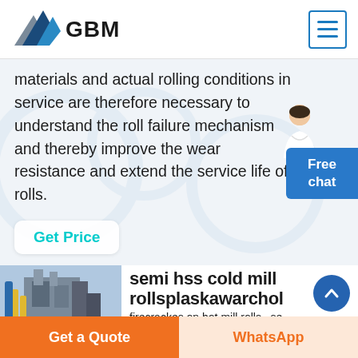GBM
materials and actual rolling conditions in service are therefore necessary to understand the roll failure mechanism and thereby improve the wear resistance and extend the service life of rolls.
Get Price
semi hss cold mill rollsplaskawarchol
firecrackes on hot mill rolls se
Get a Quote | WhatsApp